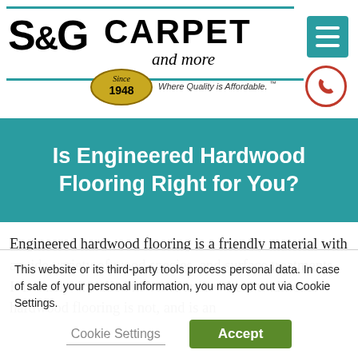[Figure (logo): S&G Carpet and more logo with 'Since 1948' badge and tagline 'Where Quality is Affordable.' on teal horizontal lines, plus hamburger menu icon and phone icon in top right]
Is Engineered Hardwood Flooring Right for You?
Engineered hardwood flooring is a friendly material with a wide variety of wood species, and surface treatments. It is easily installed in home areas where traditional hardwood flooring is not, and is an
This website or its third-party tools process personal data. In case of sale of your personal information, you may opt out via Cookie Settings.
Cookie Settings | Accept